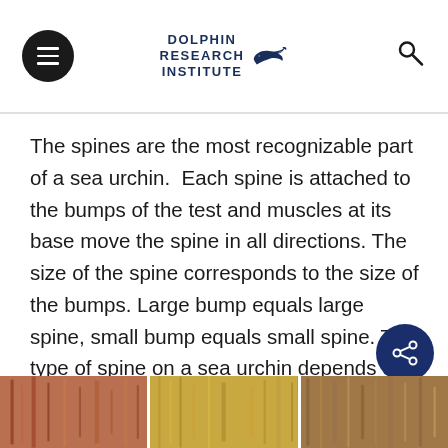DOLPHIN RESEARCH INSTITUTE
The spines are the most recognizable part of a sea urchin. Each spine is attached to the bumps of the test and muscles at its base move the spine in all directions. The size of the spine corresponds to the size of the bumps. Large bump equals large spine, small bump equals small spine. The type of spine on a sea urchin depends on its species, they can be long or short, pointed or blunt, thick or thin, hollow or solid.
[Figure (photo): Three close-up photographs of sea urchin spines arranged side by side in a strip at the bottom of the page]